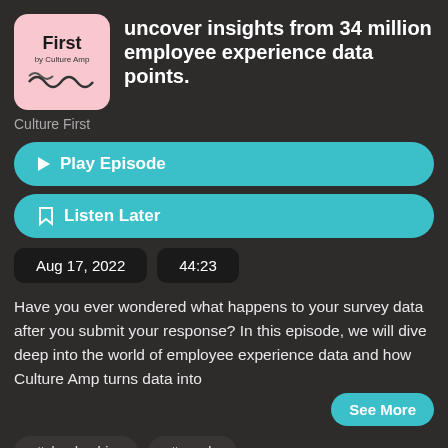[Figure (logo): Culture Amp 'First' podcast logo — pink rounded square with bold 'First' text and wavy lines]
uncover insights from 34 million employee experience data points.
Culture First
▶ Play Episode
🔖 Listen Later
Aug 17, 2022
44:23
Have you ever wondered what happens to your survey data after you submit your response? In this episode, we will dive deep into the world of employee experience data and how Culture Amp turns data into
See More
# leadership
# work